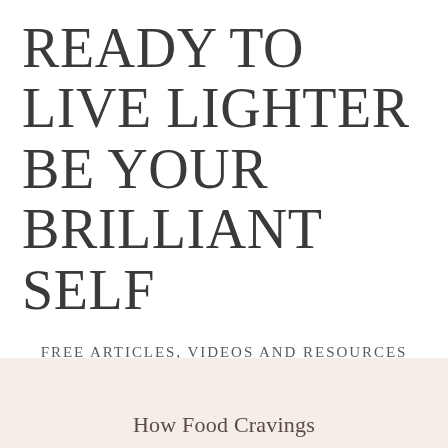READY TO LIVE LIGHTER BE YOUR BRILLIANT SELF
FREE ARTICLES, VIDEOS AND RESOURCES THAT EMPOWER YOU AND RECONNECT YOUR INNER WISDOM AND PURPOSE TO CREATE THE SUCCESS YOU DESERVE.
How Food Cravings